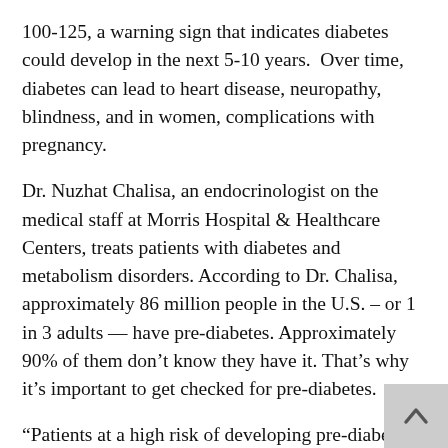100-125, a warning sign that indicates diabetes could develop in the next 5-10 years.  Over time, diabetes can lead to heart disease, neuropathy, blindness, and in women, complications with pregnancy.
Dr. Nuzhat Chalisa, an endocrinologist on the medical staff at Morris Hospital & Healthcare Centers, treats patients with diabetes and metabolism disorders. According to Dr. Chalisa, approximately 86 million people in the U.S. – or 1 in 3 adults — have pre-diabetes. Approximately 90% of them don't know they have it. That's why it's important to get checked for pre-diabetes.
“Patients at a high risk of developing pre-diabetes usually have a family history of diabetes,” says Dr. Chalisa.  “Other risk factors include obesity,